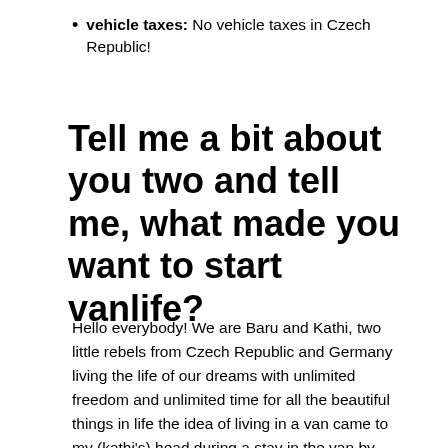vehicle taxes: No vehicle taxes in Czech Republic!
Tell me a bit about you two and tell me, what made you want to start vanlife?
Hello everybody! We are Baru and Kathi, two little rebels from Czech Republic and Germany living the life of our dreams with unlimited freedom and unlimited time for all the beautiful things in life the idea of living in a van came to my (kathi's) head during a stay in the van by south America in 2015